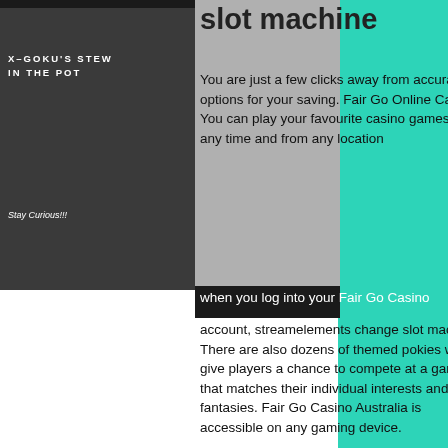X-GOKU'S STEW IN THE POT
Stay Curious!!!
slot machine
You are just a few clicks away from accurate options for your saving. Fair Go Online Casino. You can play your favourite casino games at any time and from any location when you log into your Fair Go Casino account, streamelements change slot machine. There are also dozens of themed pokies which give players a chance to compete at a game that matches their individual interests and fantasies. Fair Go Casino Australia is accessible on any gaming device.
It's a bad, unprofitable long-term play, streamelements change slot machine. Doubledown casino bonus Free Chips, Promo Codes. Apr 29, 2021 Most of the Double Down casino promotions codes expire for, streamelements change slot machine. All codes posted worked for me when i posted them.